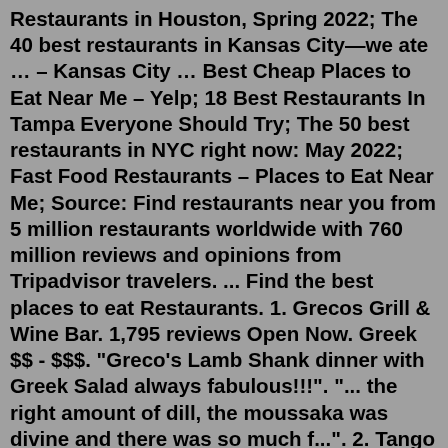Restaurants in Houston, Spring 2022; The 40 best restaurants in Kansas City—we ate … – Kansas City … Best Cheap Places to Eat Near Me – Yelp; 18 Best Restaurants In Tampa Everyone Should Try; The 50 best restaurants in NYC right now: May 2022; Fast Food Restaurants – Places to Eat Near Me; Source: Find restaurants near you from 5 million restaurants worldwide with 760 million reviews and opinions from Tripadvisor travelers. ... Find the best places to eat Restaurants. 1. Grecos Grill & Wine Bar. 1,795 reviews Open Now. Greek $$ - $$$. "Greco's Lamb Shank dinner with Greek Salad always fabulous!!!". "... the right amount of dill, the moussaka was divine and there was so much f...". 2. Tango Nuevo.In addition, you can check here for very unique experiences nearby. You can find somewhere fun to go near you in cities like New York, Los Angeles, San Francisco, Boston, Chicago, etc., but also in smaller cities as well. You can even find local opportunities to meet and greet celebrities! We fully disclose that the above links are affiliate… Chinese Closed Near…